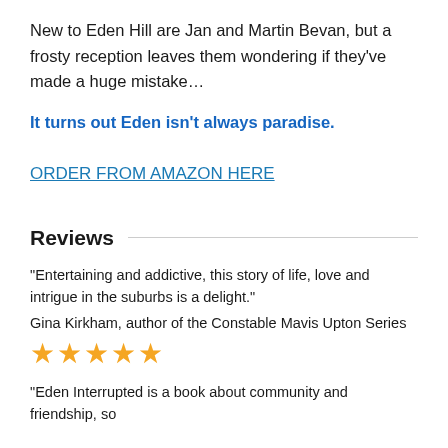New to Eden Hill are Jan and Martin Bevan, but a frosty reception leaves them wondering if they've made a huge mistake…
It turns out Eden isn't always paradise.
ORDER FROM AMAZON HERE
Reviews
“Entertaining and addictive, this story of life, love and intrigue in the suburbs is a delight.”
Gina Kirkham, author of the Constable Mavis Upton Series
[Figure (other): Four gold star rating icons]
“Eden Interrupted is a book about community and friendship, so